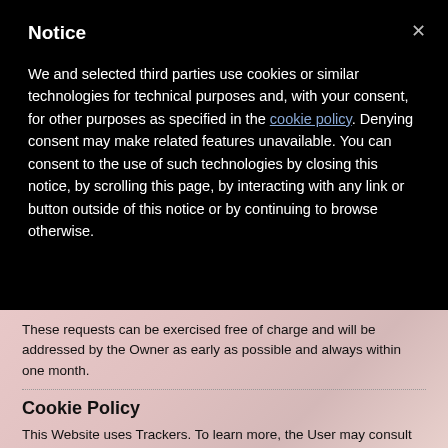Notice
We and selected third parties use cookies or similar technologies for technical purposes and, with your consent, for other purposes as specified in the cookie policy. Denying consent may make related features unavailable. You can consent to the use of such technologies by closing this notice, by scrolling this page, by interacting with any link or button outside of this notice or by continuing to browse otherwise.
These requests can be exercised free of charge and will be addressed by the Owner as early as possible and always within one month.
Cookie Policy
This Website uses Trackers. To learn more, the User may consult the Cookie Policy.